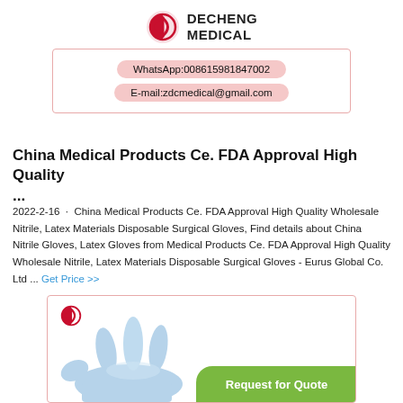[Figure (logo): Decheng Medical logo with red stylized icon and bold text DECHENG MEDICAL]
WhatsApp:008615981847002
E-mail:zdcmedical@gmail.com
China Medical Products Ce. FDA Approval High Quality
...
2022-2-16 · China Medical Products Ce. FDA Approval High Quality Wholesale Nitrile, Latex Materials Disposable Surgical Gloves, Find details about China Nitrile Gloves, Latex Gloves from Medical Products Ce. FDA Approval High Quality Wholesale Nitrile, Latex Materials Disposable Surgical Gloves - Eurus Global Co. Ltd ... Get Price >>
[Figure (photo): Product image box showing Decheng Medical logo and a blue nitrile/latex disposable surgical glove hand, with a green Request for Quote button at bottom right]